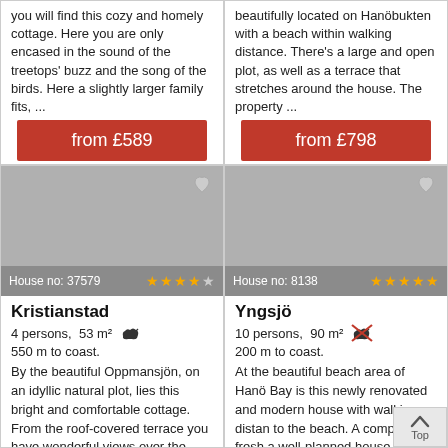you will find this cozy and homely cottage. Here you are only encased in the sound of the treetops' buzz and the song of the birds. Here a slightly larger family fits, ...
from £589
beautifully located on Hanöbukten with a beach within walking distance. There's a large and open plot, as well as a terrace that stretches around the house. The property ...
from £798
[Figure (photo): Photo placeholder for Kristianstad property (House no: 37579), gray image area with heart icon and 4-star rating]
Kristianstad
4 persons, 53 m²
550 m to coast.
By the beautiful Oppmansjön, on an idyllic natural plot, lies this bright and comfortable cottage. From the roof-covered terrace you have wonderful views over the meadows towards the ...
[Figure (photo): Photo placeholder for Yngsjö property (House no: 8138), gray image area with heart icon and 5-star rating]
Yngsjö
10 persons, 90 m²
200 m to coast.
At the beautiful beach area of Hanö Bay is this newly renovated and modern house with walking distance to the beach. A completely fresh and well-planned house with lovely bri...